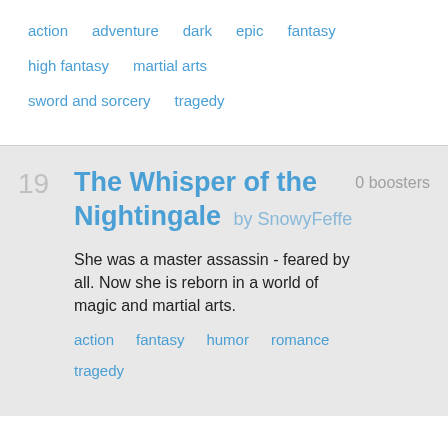action   adventure   dark   epic   fantasy
high fantasy   martial arts
sword and sorcery   tragedy
The Whisper of the Nightingale by SnowyFeffe
She was a master assassin - feared by all. Now she is reborn in a world of magic and martial arts.
action   fantasy   humor   romance
tragedy